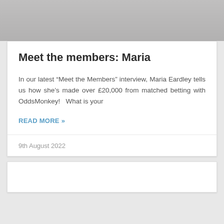[Figure (photo): Gray image area at top of page]
Meet the members: Maria
In our latest “Meet the Members” interview, Maria Eardley tells us how she’s made over £20,000 from matched betting with OddsMonkey!   What is your
READ MORE »
9th August 2022